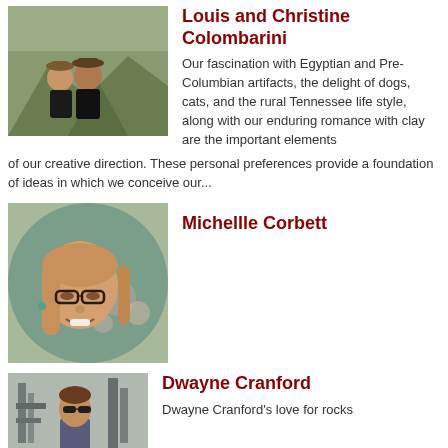Louis and Christine Colombarini
Our fascination with Egyptian and Pre-Columbian artifacts, the delight of dogs, cats, and the rural Tennessee life style, along with our enduring romance with clay are the important elements of our creative direction. These personal preferences provide a foundation of ideas in which we conceive our...
[Figure (photo): Photo of Louis and Christine Colombarini outdoors in a natural setting]
[Figure (photo): Photo of Michelle Corbett, a young woman with glasses and long hair]
Michellle Corbett
[Figure (photo): Photo of Dwayne Cranford]
Dwayne Cranford
Dwayne Cranford's love for rocks